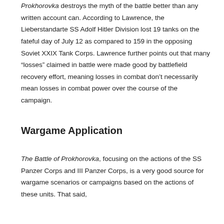Prokhorovka destroys the myth of the battle better than any written account can. According to Lawrence, the Lieberstandarte SS Adolf Hitler Division lost 19 tanks on the fateful day of July 12 as compared to 159 in the opposing Soviet XXIX Tank Corps. Lawrence further points out that many “losses” claimed in battle were made good by battlefield recovery effort, meaning losses in combat don’t necessarily mean losses in combat power over the course of the campaign.
Wargame Application
The Battle of Prokhorovka, focusing on the actions of the SS Panzer Corps and III Panzer Corps, is a very good source for wargame scenarios or campaigns based on the actions of these units. That said,